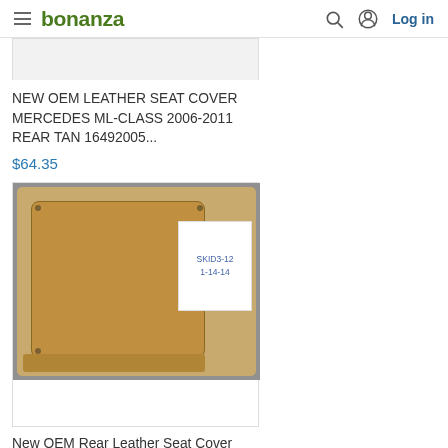bonanza | Log in
[Figure (photo): Top portion of a product image (cropped), white/light background]
NEW OEM LEATHER SEAT COVER MERCEDES ML-CLASS 2006-2011 REAR TAN 16492005...
$64.35
[Figure (photo): Photo of a tan/beige OEM leather rear seat cover for Mercedes ML-Class, laid flat on a gray surface with a white label card showing handwritten text 'SKID3-12 1-14-14']
New OEM Rear Leather Seat Cover Mercedes ML-Class 2006-2011 Upper Tan